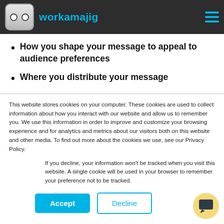workamajig
How you shape your message to appeal to audience preferences
Where you distribute your message
This website stores cookies on your computer. These cookies are used to collect information about how you interact with our website and allow us to remember you. We use this information in order to improve and customize your browsing experience and for analytics and metrics about our visitors both on this website and other media. To find out more about the cookies we use, see our Privacy Policy.
If you decline, your information won't be tracked when you visit this website. A single cookie will be used in your browser to remember your preference not to be tracked.